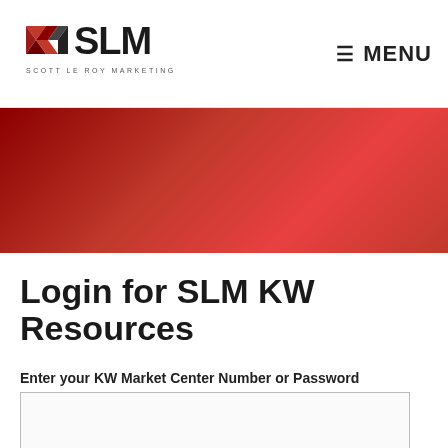SLM SCOTT LE ROY MARKETING — MENU
[Figure (illustration): Red gradient banner background]
Login for SLM KW Resources
Enter your KW Market Center Number or Password
Remember Me